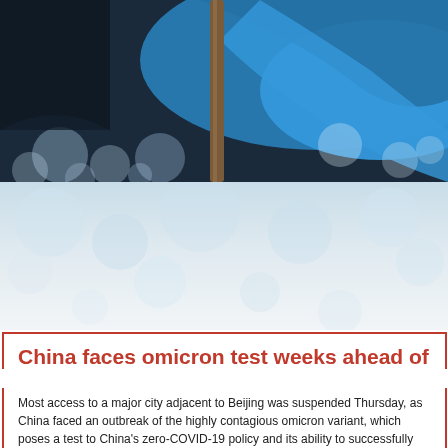[Figure (photo): Photo of blue fabric/flag with a wooden pole, bokeh background with light circles]
China faces omicron test weeks ahead of B
Most access to a major city adjacent to Beijing was suspended Thursday, as China faced an outbreak of the highly contagious omicron variant, which poses a test to China's zero-COVID-19 policy and its ability to successfully host the Winter Olympics.
Tianjin, a port and manufacturing center with 14 million people, is one of many cities where the government is imposing lockdowns and other restrictions as part of a policy of trying to stamp out every virus case. But the outbreak in a city so close to the Olympic host is of major concern. Throughout the pandemic, authorities have been especially protective of Beijing, seat of the central government and home to senior politicians. With the Games opening there in less than four weeks and China's national pride on the line, the stakes are even higher now.
On Thursday, Tianjin suspended train, taxi, bus and ride-hailing services to and from Beijing. Some high-speed train services were canceled earlier and highways closed. People leaving were required to present negative virus tests and receive special permission.